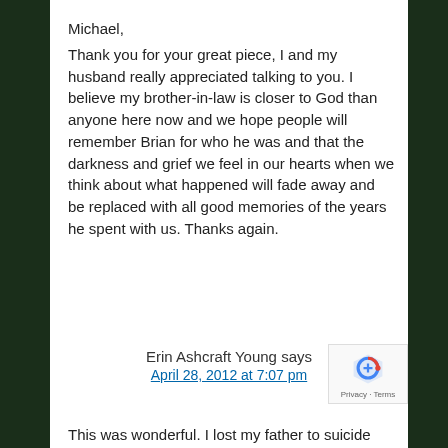Michael,
Thank you for your great piece, I and my husband really appreciated talking to you. I believe my brother-in-law is closer to God than anyone here now and we hope people will remember Brian for who he was and that the darkness and grief we feel in our hearts when we think about what happened will fade away and be replaced with all good memories of the years he spent with us. Thanks again.
Erin Ashcraft Young says
April 28, 2012 at 7:07 pm
This was wonderful. I lost my father to suicide